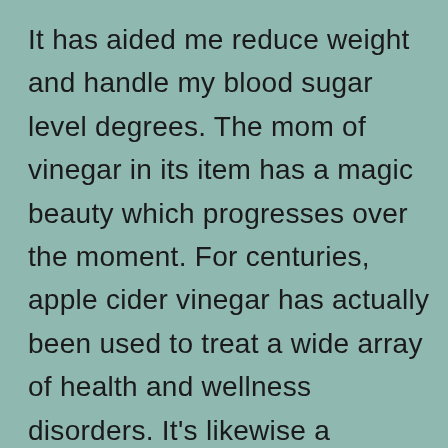It has aided me reduce weight and handle my blood sugar level degrees. The mom of vinegar in its item has a magic beauty which progresses over the moment. For centuries, apple cider vinegar has actually been used to treat a wide array of health and wellness disorders. It's likewise a preferred disinfectant and also natural chemical. Today, it may be best known as a weight reduction help and also a means to aid control your blood glucose. One more research study of people with type 1 diabetic issues discovered that apple cider vinegar slows the rate food as well